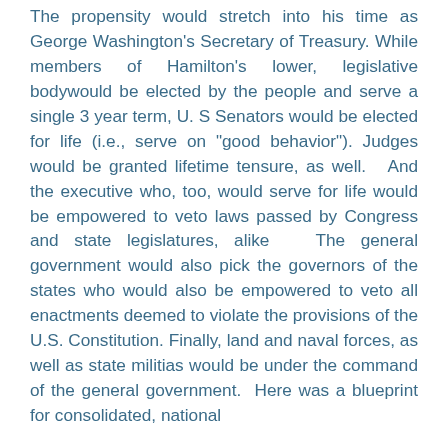The propensity would stretch into his time as George Washington's Secretary of Treasury. While members of Hamilton's lower, legislative bodywould be elected by the people and serve a single 3 year term, U. S Senators would be elected for life (i.e., serve on "good behavior"). Judges would be granted lifetime tensure, as well. And the executive who, too, would serve for life would be empowered to veto laws passed by Congress and state legislatures, alike The general government would also pick the governors of the states who would also be empowered to veto all enactments deemed to violate the provisions of the U.S. Constitution. Finally, land and naval forces, as well as state militias would be under the command of the general government. Here was a blueprint for consolidated, national